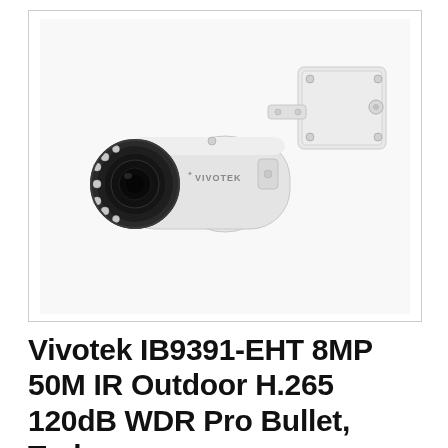[Figure (photo): A white VIVOTEK bullet security camera (IB9391-EHT) with a wall-mount junction box bracket, shown on a white background inside a bordered rectangle. The camera has a black lens assembly with IR LEDs on the front and the VIVOTEK logo on the body.]
Vivotek IB9391-EHT 8MP 50M IR Outdoor H.265 120dB WDR Pro Bullet, Turle...